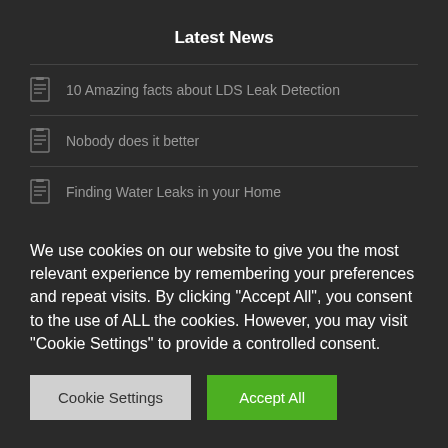Latest News
10 Amazing facts about LDS Leak Detection
Nobody does it better
Finding Water Leaks in your Home
Our Certifications
We use cookies on our website to give you the most relevant experience by remembering your preferences and repeat visits. By clicking "Accept All", you consent to the use of ALL the cookies. However, you may visit "Cookie Settings" to provide a controlled consent.
Cookie Settings
Accept All